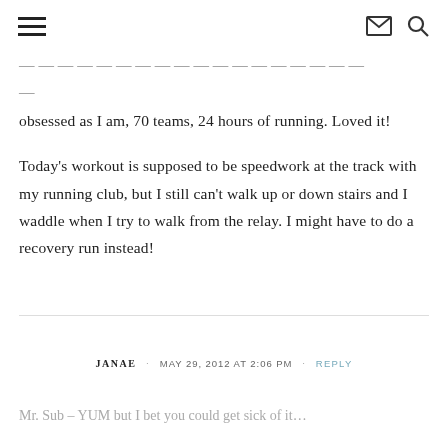…overing 24 miles. It was awesome! 1,200 runners as obsessed as I am, 70 teams, 24 hours of running. Loved it!
Today's workout is supposed to be speedwork at the track with my running club, but I still can't walk up or down stairs and I waddle when I try to walk from the relay. I might have to do a recovery run instead!
JANAE · MAY 29, 2012 AT 2:06 PM · REPLY
Mr. Sub – YUM but I bet you could get sick of it…